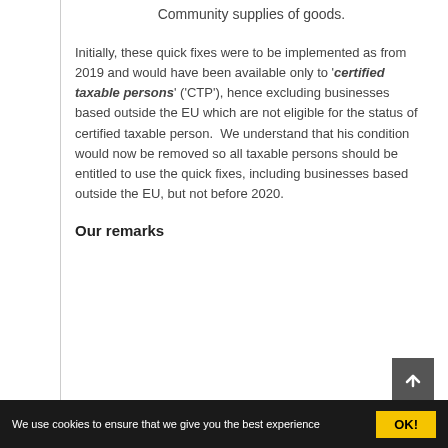Community supplies of goods.
Initially, these quick fixes were to be implemented as from 2019 and would have been available only to 'certified taxable persons' ('CTP'), hence excluding businesses based outside the EU which are not eligible for the status of certified taxable person. We understand that his condition would now be removed so all taxable persons should be entitled to use the quick fixes, including businesses based outside the EU, but not before 2020.
Our remarks
We use cookies to ensure that we give you the best experience